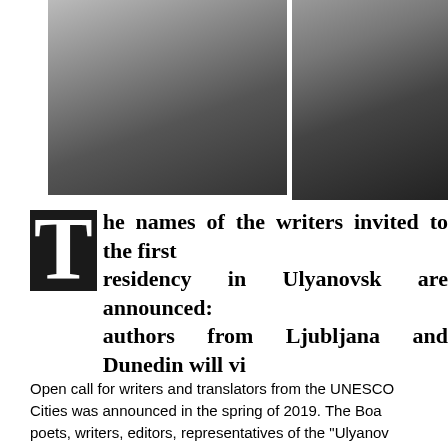[Figure (photo): Black and white portrait photo of a young man with curly hair and glasses wearing a blazer]
[Figure (photo): Black and white portrait photo of an older man with glasses wearing a dark shirt]
The names of the writers invited to the first residency in Ulyanovsk are announced: authors from Ljubljana and Dunedin will vi
Open call for writers and translators from the UNESCO Cities was announced in the spring of 2019. The Boa poets, writers, editors, representatives of the "Ulyanov UNESCO city of literature" direction. Foundation "Ulya